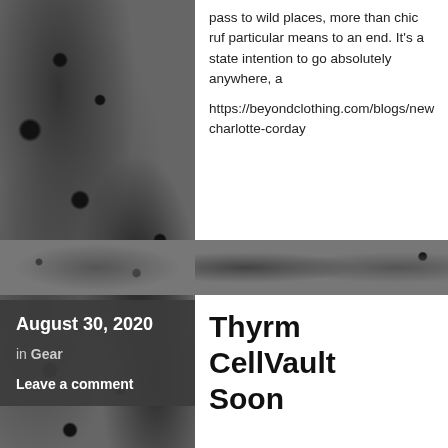pass to wild places, more than chic ruf particular means to an end. It's a state intention to go absolutely anywhere, a
https://beyondclothing.com/blogs/new charlotte-corday
August 30, 2020
in Gear
Leave a comment
Thyrm CellVault Soon